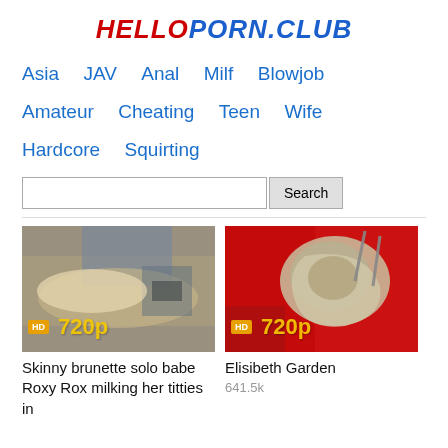HelloPorn.club
Asia   JAV   Anal   Milf   Blowjob   Amateur   Cheating   Teen   Wife   Hardcore   Squirting
Search
[Figure (photo): Video thumbnail showing a woman lying down, HD 720p badge overlay. Title: Skinny brunette solo babe Roxy Rox milking her titties in]
[Figure (photo): Video thumbnail showing metallic instrument on red background, HD 720p badge overlay. Title: Elisibeth Garden, 641.5k views]